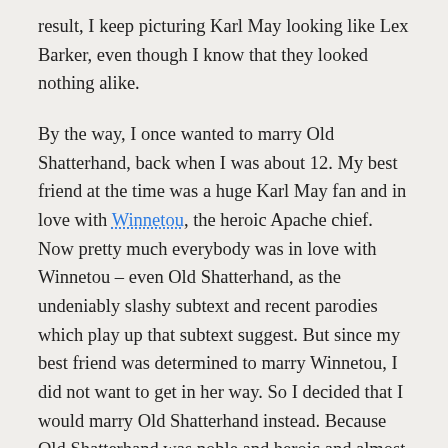result, I keep picturing Karl May looking like Lex Barker, even though I know that they looked nothing alike.
By the way, I once wanted to marry Old Shatterhand, back when I was about 12. My best friend at the time was a huge Karl May fan and in love with Winnetou, the heroic Apache chief. Now pretty much everybody was in love with Winnetou – even Old Shatterhand, as the undeniably slashy subtext and recent parodies which play up that subtext suggest. But since my best friend was determined to marry Winnetou, I did not want to get in her way. So I decided that I would marry Old Shatterhand instead. Because Old Shatterhand was noble and heroic and almost as cool as Winnetou and quite handsome, too, considering that he was played by Lex Barker.